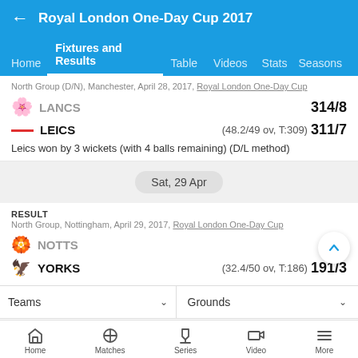Royal London One-Day Cup 2017
Home  Fixtures and Results  Table  Videos  Stats  Seasons
North Group (D/N), Manchester, April 28, 2017, Royal London One-Day Cup
LANCS  314/8
LEICS  (48.2/49 ov, T:309) 311/7
Leics won by 3 wickets (with 4 balls remaining) (D/L method)
Sat, 29 Apr
RESULT
North Group, Nottingham, April 29, 2017, Royal London One-Day Cup
NOTTS
YORKS  (32.4/50 ov, T:186) 191/3
Teams  Grounds
Home  Matches  Series  Video  More